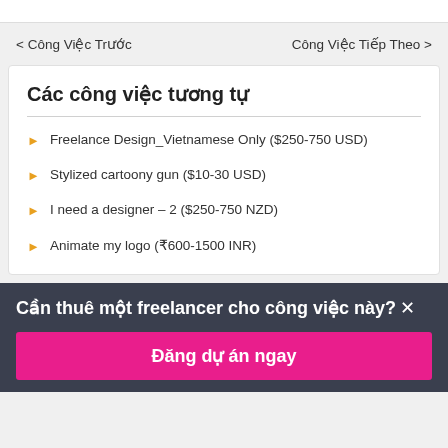< Công Việc Trước    Công Việc Tiếp Theo >
Các công việc tương tự
Freelance Design_Vietnamese Only ($250-750 USD)
Stylized cartoony gun ($10-30 USD)
I need a designer – 2 ($250-750 NZD)
Animate my logo (₹600-1500 INR)
Cần thuê một freelancer cho công việc này? ×
Đăng dự án ngay